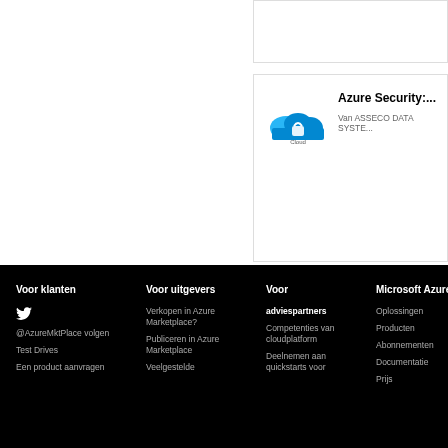[Figure (screenshot): Partial product card with border at top right]
[Figure (screenshot): Azure Security product card with Cloud logo from ASSECO DATA SYSTE...]
Azure Security:...
Van ASSECO DATA SYSTE...
Voor klanten  Voor uitgevers  Voor  Microsoft Azure
@AzureMktPlace volgen  Verkopen in Azure Marketplace?  adviespartners  Oplossingen
Test Drives  Publiceren in Azure Marketplace  Competenties van cloudplatform  Producten
Een product aanvragen  Veelgestelde  Deelnemen aan quickstarts voor  Abonnementen
  Documentatie
  Prijs